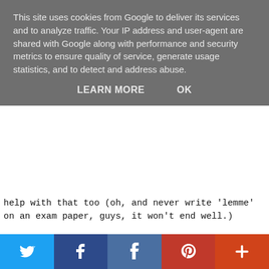This site uses cookies from Google to deliver its services and to analyze traffic. Your IP address and user-agent are shared with Google along with performance and security metrics to ensure quality of service, generate usage statistics, and to detect and address abuse.
LEARN MORE   OK
help with that too (oh, and never write 'lemme' on an exam paper, guys, it won't end well.)
Examples:
Q: How did Charles I's attitudes towards kingship shape the way he interacted with parliament?
A: The relationship between Charles I and